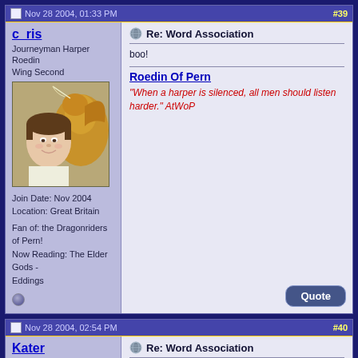Nov 28 2004, 01:33 PM  #39
c_ris
Journeyman Harper Roedin
Wing Second
Join Date: Nov 2004
Location: Great Britain
Fan of: the Dragonriders of Pern!
Now Reading: The Elder Gods - Eddings
[Figure (photo): Avatar image of a boy with a golden dragon behind him]
Re: Word Association
boo!
Roedin Of Pern
"When a harper is silenced, all men should listen harder." AtWoP
Nov 28 2004, 02:54 PM  #40
Kater
Menetteth's Rider
Weyrling
[Figure (photo): Avatar image of an orange tabby cat]
Re: Word Association
who
Everything I know I learned from Piglet, Eponine and Nimby